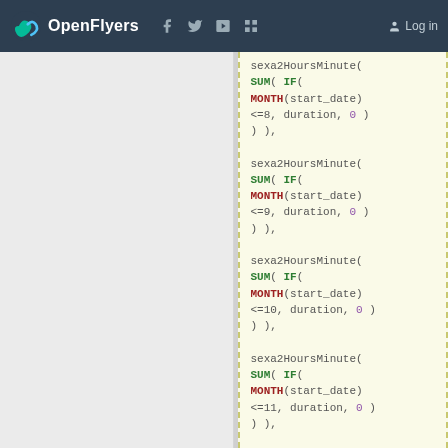OpenFlyers — navigation bar with logo, social icons, Log in
sexa2HoursMinute(
SUM( IF(
MONTH(start_date)
<=8, duration, 0 )
) ),

sexa2HoursMinute(
SUM( IF(
MONTH(start_date)
<=9, duration, 0 )
) ),

sexa2HoursMinute(
SUM( IF(
MONTH(start_date)
<=10, duration, 0 )
) ),

sexa2HoursMinute(
SUM( IF(
MONTH(start_date)
<=11, duration, 0 )
) ),

sexa2HoursMinute(
SUM( IF(